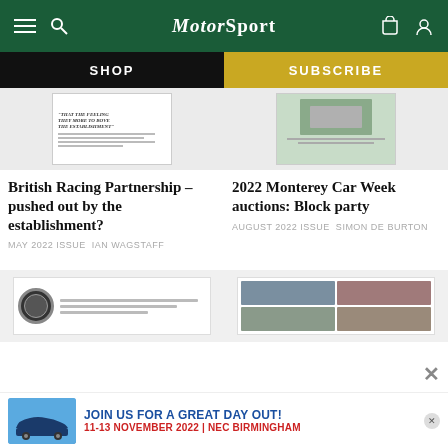Motor Sport
SHOP
SUBSCRIBE
[Figure (photo): Magazine spread showing British Racing Partnership article]
British Racing Partnership – pushed out by the establishment?
MAY 2022 ISSUE  IAN WAGSTAFF
[Figure (photo): Magazine spread showing 2022 Monterey Car Week auctions article with car image]
2022 Monterey Car Week auctions: Block party
AUGUST 2022 ISSUE  SIMON DE BURTON
[Figure (photo): Magazine page showing watch and article text]
[Figure (photo): Grid of car images]
[Figure (photo): Advertisement: Join Us For A Great Day Out! 11-13 November 2022 | NEC Birmingham, showing blue Porsche]